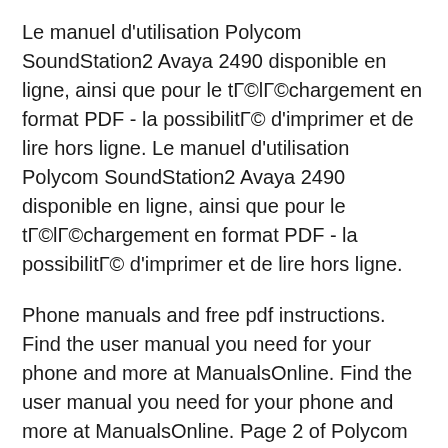Le manuel d'utilisation Polycom SoundStation2 Avaya 2490 disponible en ligne, ainsi que pour le tГ©lГ©chargement en format PDF - la possibilitГ© d'imprimer et de lire hors ligne. Le manuel d'utilisation Polycom SoundStation2 Avaya 2490 disponible en ligne, ainsi que pour le tГ©lГ©chargement en format PDF - la possibilitГ© d'imprimer et de lire hors ligne.
Phone manuals and free pdf instructions. Find the user manual you need for your phone and more at ManualsOnline. Find the user manual you need for your phone and more at ManualsOnline. Page 2 of Polycom Cordless Telephone Avaya 2490 User Guide